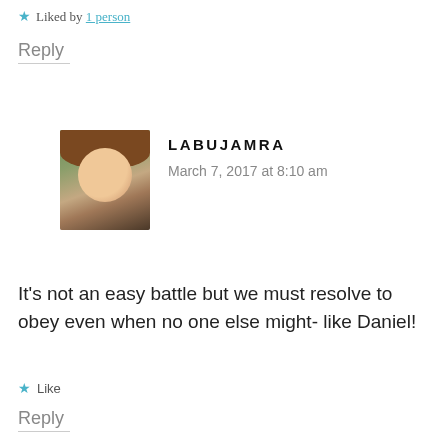★ Liked by 1 person
Reply
[Figure (photo): Profile photo of a smiling woman with brown hair]
LABUJAMRA
March 7, 2017 at 8:10 am
It's not an easy battle but we must resolve to obey even when no one else might- like Daniel!
★ Like
Reply